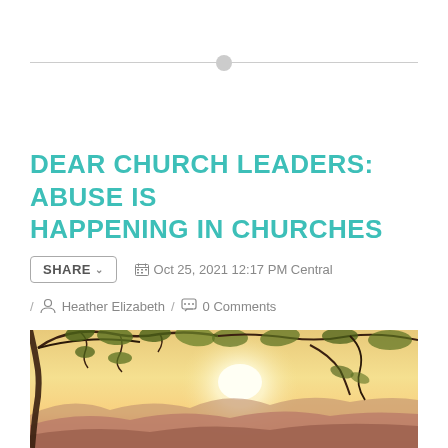DEAR CHURCH LEADERS: ABUSE IS HAPPENING IN CHURCHES
SHARE ∨   Oct 25, 2021 12:17 PM Central
/ Heather Elizabeth / 0 Comments
[Figure (photo): Sunset landscape photo with tree branches in foreground silhouetted against a warm golden-orange sky with mountains in the background]